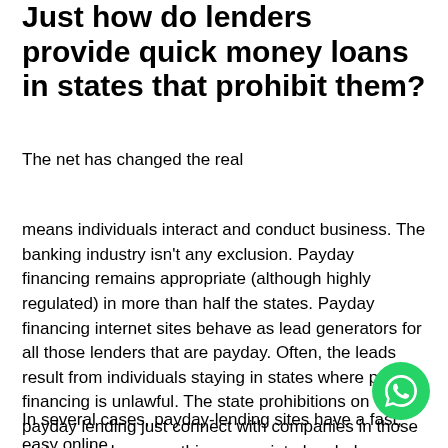Just how do lenders provide quick money loans in states that prohibit them?
The net has changed the real
means individuals interact and conduct business. The banking industry isn't any exclusion. Payday financing remains appropriate (although highly regulated) in more than half the states. Payday financing internet sites behave as lead generators for all those lenders that are payday. Often, the leads result from individuals staying in states where payday financing is unlawful. The state prohibitions on payday lending just connect with companies in those states, which means this appropriate loophole combines with all the reach for the Web to produce payday financing feasible every where. Those sites enable loan providers to skirt state legal guidelines and profit from borrowers.
In several cases, payday-lending sites have a fast, easy online
[Figure (other): Green circular WhatsApp chat button in bottom-right corner]